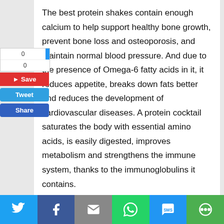The best protein shakes contain enough calcium to help support healthy bone growth, prevent bone loss and osteoporosis, and maintain normal blood pressure. And due to the presence of Omega-6 fatty acids in it, it reduces appetite, breaks down fats better and reduces the development of cardiovascular diseases. A protein cocktail saturates the body with essential amino acids, is easily digested, improves metabolism and strengthens the immune system, thanks to the immunoglobulins it contains.
A protein shake has a low calorie content, but only 200-300 ml is enough to saturate the human body and keep this feeling for 3-4 hours. The main thing is that in a drink a single dose of protein does not exceed 30 grams.
[Figure (infographic): Social media share buttons sidebar with counts (0,0), Save button (red), Tweet button (blue), Share button (dark blue)]
[Figure (infographic): Bottom social sharing bar with Twitter, Facebook, Email, WhatsApp, SMS, and More icons]